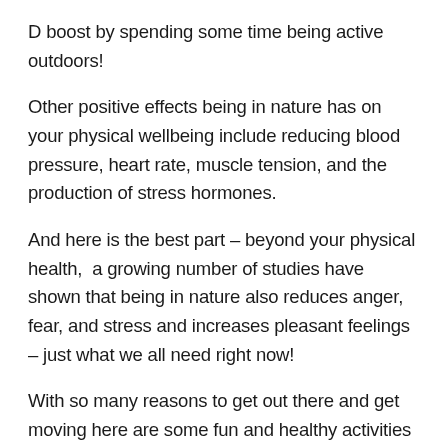D boost by spending some time being active outdoors!
Other positive effects being in nature has on your physical wellbeing include reducing blood pressure, heart rate, muscle tension, and the production of stress hormones.
And here is the best part – beyond your physical health,  a growing number of studies have shown that being in nature also reduces anger, fear, and stress and increases pleasant feelings – just what we all need right now!
With so many reasons to get out there and get moving here are some fun and healthy activities that you can enjoy while taking advantage of the pleasant weather and beautiful scenery: